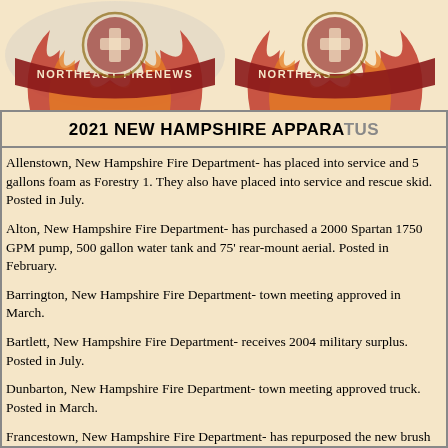[Figure (illustration): Northeast Firenews logo/header repeated twice across the top of the page, showing fire department emblem with flames and banner reading NORTHEAST FIRENEWS]
2021 NEW HAMPSHIRE APPARATUS
Allenstown, New Hampshire Fire Department- has placed into service and 5 gallons foam as Forestry 1. They also have placed into service and rescue skid. Posted in July.
Alton, New Hampshire Fire Department- has purchased a 2000 Spartan 1750 GPM pump, 500 gallon water tank and 75' rear-mount aerial. Posted in February.
Barrington, New Hampshire Fire Department- town meeting approved in March.
Bartlett, New Hampshire Fire Department- receives 2004 military surplus. Posted in July.
Dunbarton, New Hampshire Fire Department- town meeting approved truck. Posted in March.
Francestown, New Hampshire Fire Department- has repurposed the new brush unit, replacing the 1968 Jeep as Brush 1. Posted in September.